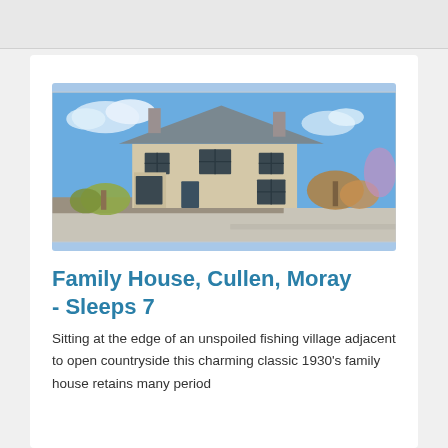[Figure (photo): Exterior photograph of a two-storey 1930s stone family house with slate roof, dark-framed windows, chimneys, surrounded by garden plants and a low stone wall, under a blue sky with clouds.]
Family House, Cullen, Moray - Sleeps 7
Sitting at the edge of an unspoiled fishing village adjacent to open countryside this charming classic 1930's family house retains many period